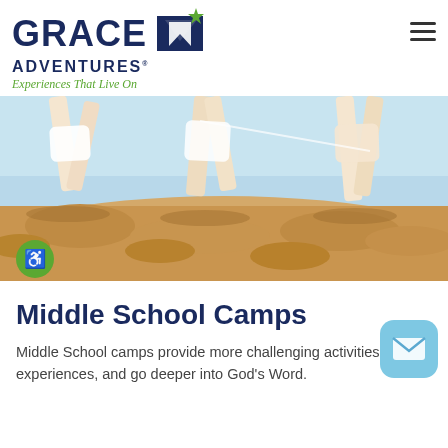[Figure (logo): Grace Adventures logo with star icon and tagline 'Experiences That Live On']
[Figure (photo): People running or jumping on sandy beach, viewed from ground level showing legs and shadows]
Middle School Camps
Middle School camps provide more challenging activities, unique experiences, and go deeper into God's Word.